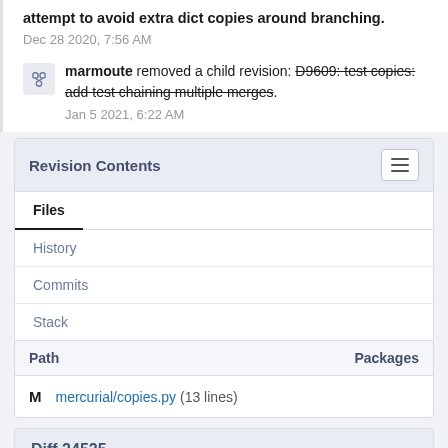attempt to avoid extra dict copies around branching.
Dec 28 2020, 7:56 AM
marmoute removed a child revision: D9609: test copies: add test chaining multiple merges.
Jan 5 2021, 6:22 AM
Revision Contents
Files
History
Commits
Stack
| Path | Packages |
| --- | --- |
| M  mercurial/copies.py (13 lines) |  |
Diff 24525